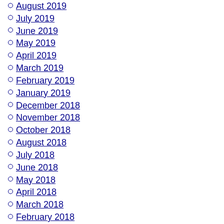August 2019
July 2019
June 2019
May 2019
April 2019
March 2019
February 2019
January 2019
December 2018
November 2018
October 2018
August 2018
July 2018
June 2018
May 2018
April 2018
March 2018
February 2018
January 2018
December 2017
November 2017
October 2017
September 2017
August 2017
July 2017